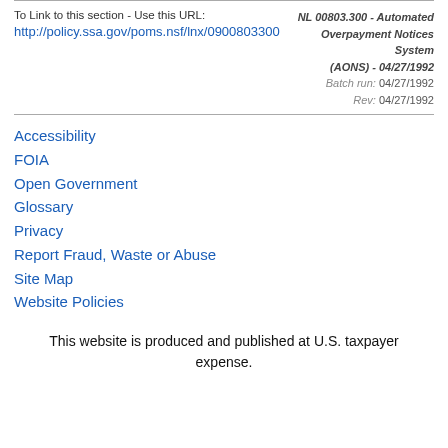To Link to this section - Use this URL:
http://policy.ssa.gov/poms.nsf/lnx/0900803300
NL 00803.300 - Automated Overpayment Notices System (AONS) - 04/27/1992
Batch run: 04/27/1992
Rev: 04/27/1992
Accessibility
FOIA
Open Government
Glossary
Privacy
Report Fraud, Waste or Abuse
Site Map
Website Policies
This website is produced and published at U.S. taxpayer expense.